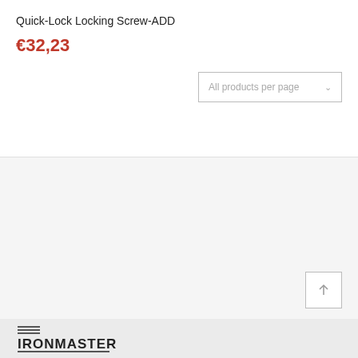Quick-Lock Locking Screw-ADD
€32,23
All products per page ∨
[Figure (logo): Ironmaster brand logo with horizontal lines above text and an underline below text]
IRONMASTER